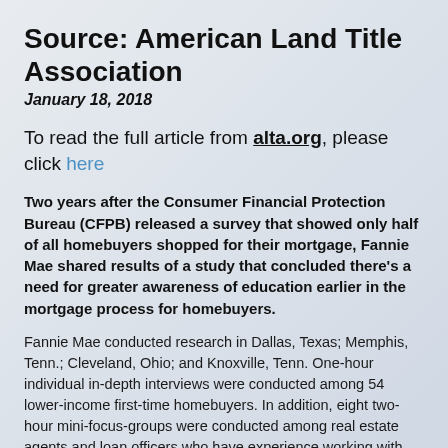Source: American Land Title Association
January 18, 2018
To read the full article from alta.org, please click here
Two years after the Consumer Financial Protection Bureau (CFPB) released a survey that showed only half of all homebuyers shopped for their mortgage, Fannie Mae shared results of a study that concluded there's a need for greater awareness of education earlier in the mortgage process for homebuyers.
Fannie Mae conducted research in Dallas, Texas; Memphis, Tenn.; Cleveland, Ohio; and Knoxville, Tenn. One-hour individual in-depth interviews were conducted among 54 lower-income first-time homebuyers. In addition, eight two-hour mini-focus-groups were conducted among real estate agents and loan officers who have experience working with lower-income first-time homebuyers and pre-purchase homeownership education/counseling programs.